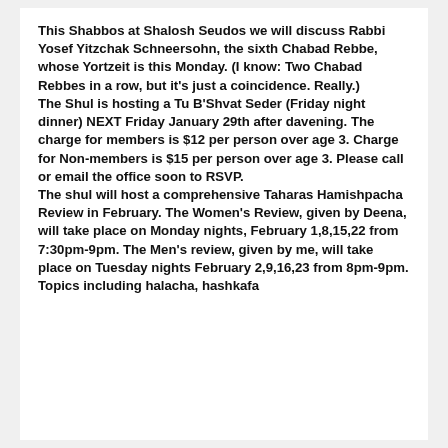This Shabbos at Shalosh Seudos we will discuss Rabbi Yosef Yitzchak Schneersohn, the sixth Chabad Rebbe, whose Yortzeit is this Monday.  (I know:  Two Chabad Rebbes in a row, but it's just a coincidence.  Really.)
The Shul is hosting a Tu B'Shvat Seder (Friday night dinner) NEXT Friday January 29th after davening.  The charge for members is $12 per person over age 3. Charge for Non-members is $15 per person over age 3.  Please call or email the office soon to RSVP.
The shul will host a comprehensive Taharas Hamishpacha Review in February.  The Women's Review, given by Deena, will take place on Monday nights, February 1,8,15,22 from 7:30pm-9pm.  The Men's review, given by me, will take place on Tuesday nights February 2,9,16,23 from 8pm-9pm.  Topics including halacha, hashkafa